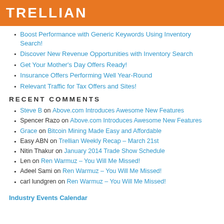TRELLIAN
Boost Performance with Generic Keywords Using Inventory Search!
Discover New Revenue Opportunities with Inventory Search
Get Your Mother's Day Offers Ready!
Insurance Offers Performing Well Year-Round
Relevant Traffic for Tax Offers and Sites!
RECENT COMMENTS
Steve B on Above.com Introduces Awesome New Features
Spencer Razo on Above.com Introduces Awesome New Features
Grace on Bitcoin Mining Made Easy and Affordable
Easy ABN on Trellian Weekly Recap – March 21st
Nitin Thakur on January 2014 Trade Show Schedule
Len on Ren Warmuz – You Will Me Missed!
Adeel Sami on Ren Warmuz – You Will Me Missed!
carl lundgren on Ren Warmuz – You Will Me Missed!
Industry Events Calendar